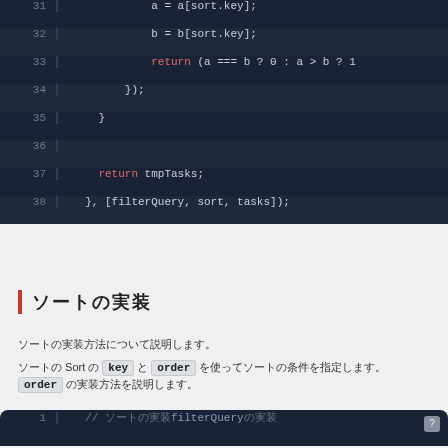[Figure (screenshot): Code editor showing lines 31–38 of JavaScript code with dark theme. Line 31: a = a[sort.key]; Line 32: b = b[sort.key]; Line 33: return (a === b ? 0 : a > b ? 1 Line 34: }); Line 35: } Line 36: (empty) Line 37: return tmpTasks; Line 38: }, [filterQuery, sort, tasks]);]
ソートの実装
ソートの実装方法について説明します。
Sort の key と order を使ってソートの条件を指定します。order の実装方法を説明します。
[Figure (screenshot): Code editor showing line 1 with a comment about filterQuery in Japanese, dark theme with question mark icon.]